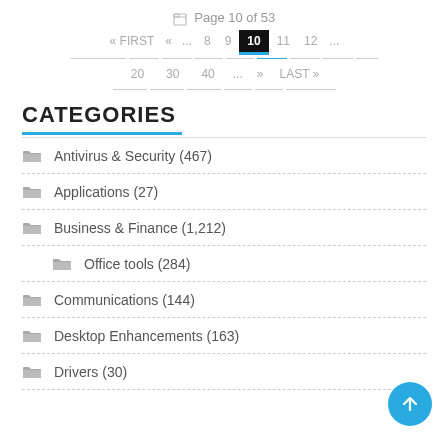Page 10 of 53
« FIRST  «  ...  8  9  10  11  12  ...  20  30  40  ...  »  LAST »
CATEGORIES
Antivirus & Security (467)
Applications (27)
Business & Finance (1,212)
Office tools (284)
Communications (144)
Desktop Enhancements (163)
Drivers (30)